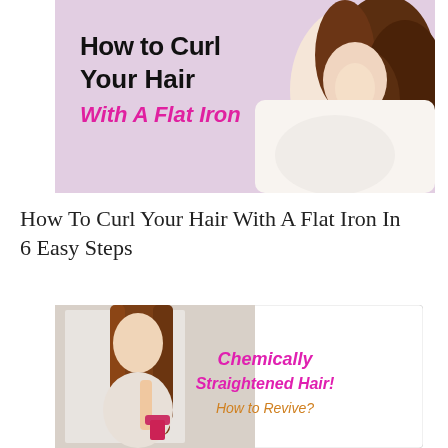[Figure (photo): Banner image with lavender/pink background showing a woman with curly hair lying down, with bold text overlay 'How to Curl Your Hair With A Flat Iron']
How To Curl Your Hair With A Flat Iron In 6 Easy Steps
[Figure (photo): Card image showing a woman brushing her long straight brown hair, with pink text 'Chemically Straightened Hair! How to Revive?']